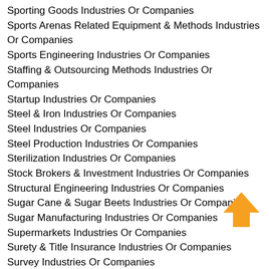Sporting Goods Industries Or Companies
Sports Arenas Related Equipment & Methods Industries Or Companies
Sports Engineering Industries Or Companies
Staffing & Outsourcing Methods Industries Or Companies
Startup Industries Or Companies
Steel & Iron Industries Or Companies
Steel Industries Or Companies
Steel Production Industries Or Companies
Sterilization Industries Or Companies
Stock Brokers & Investment Industries Or Companies
Structural Engineering Industries Or Companies
Sugar Cane & Sugar Beets Industries Or Companies
Sugar Manufacturing Industries Or Companies
Supermarkets Industries Or Companies
Surety & Title Insurance Industries Or Companies
Survey Industries Or Companies
Swarm Robotics Industries Or Companies
Sweeteners Manufacturing Industries Or Companies
Swimming Pool Automatic Cleaners Manufacturing Industries
[Figure (illustration): Orange upward-pointing arrow icon]